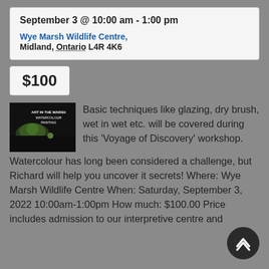September 3 @ 10:00 am - 1:00 pm
Wye Marsh Wildlife Centre, Midland, Ontario L4R 4K6
$100
[Figure (photo): Dark background promotional image for Art in the Marsh Watercolour Painting event]
Basic techniques like glazing, dry brush, wet in wet etc. will be covered during this ‘Voyage of Discovery’ workshop. Watercolour has long been considered a challenge, but Richard will help you uncover it secrets! Where: Wye Marsh Wildlife Centre When: Saturday, September 3, 2022 10:00am-1:00pm How much: $100.00 Price includes admission to our interpretive centre and